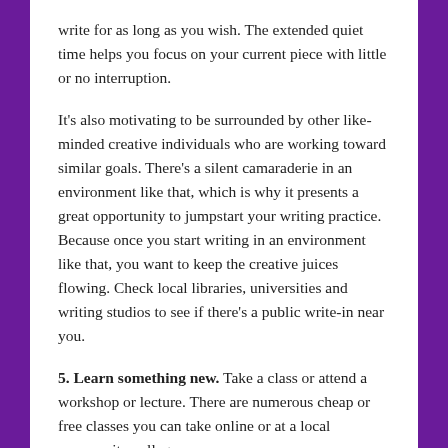write for as long as you wish. The extended quiet time helps you focus on your current piece with little or no interruption.
It's also motivating to be surrounded by other like-minded creative individuals who are working toward similar goals. There's a silent camaraderie in an environment like that, which is why it presents a great opportunity to jumpstart your writing practice. Because once you start writing in an environment like that, you want to keep the creative juices flowing. Check local libraries, universities and writing studios to see if there's a public write-in near you.
5. Learn something new. Take a class or attend a workshop or lecture. There are numerous cheap or free classes you can take online or at a local community college